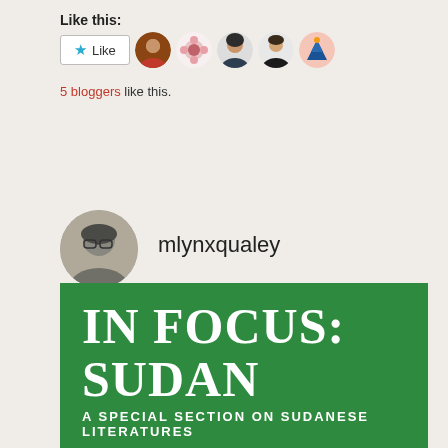Like this:
[Figure (screenshot): WordPress-style Like button with star icon and the word Like, followed by 5 small circular blogger avatar photos]
5 bloggers like this.
[Figure (photo): Circular black and white profile photo of a person with glasses]
mlynxqualey
[Figure (illustration): Green banner with white text reading IN FOCUS: SUDAN and A SPECIAL SECTION ON SUDANESE LITERATURES]